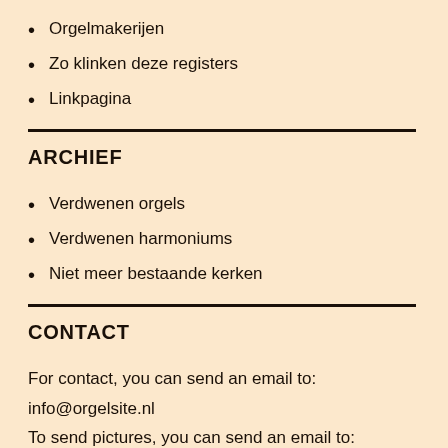Orgelmakerijen
Zo klinken deze registers
Linkpagina
ARCHIEF
Verdwenen orgels
Verdwenen harmoniums
Niet meer bestaande kerken
CONTACT
For contact, you can send an email to:
info@orgelsite.nl
To send pictures, you can send an email to: